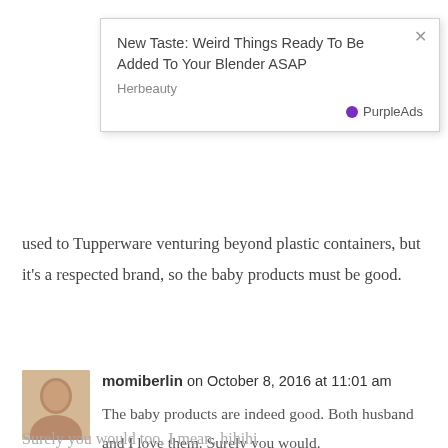[Figure (screenshot): Ad popup overlay: 'New Taste: Weird Things Ready To Be Added To Your Blender ASAP' - Herbeauty, PurpleAds]
used to Tupperware venturing beyond plastic containers, but it's a respected brand, so the baby products must be good.
momiberlin on October 8, 2016 at 11:01 am
The baby products are indeed good. Both husband and I love them. Surely you would.
momiberlin on October 8, 2016 at 11:02 am
Surely you would too, I mean, hihihi